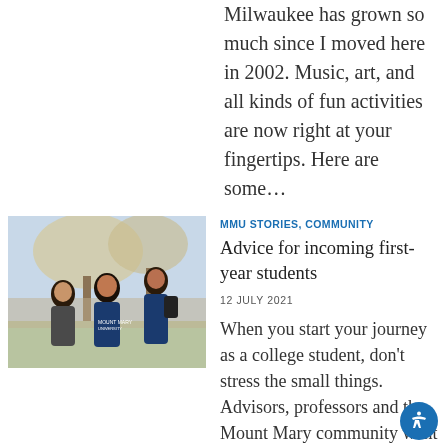Milwaukee has grown so much since I moved here in 2002. Music, art, and all kinds of fun activities are now right at your fingertips. Here are some…
[Figure (photo): Three female college students sitting outdoors near a tree in spring, wearing Mount Mary University apparel.]
MMU STORIES, COMMUNITY
Advice for incoming first-year students
12 JULY 2021
When you start your journey as a college student, don't stress the small things. Advisors, professors and the Mount Mary community want you…